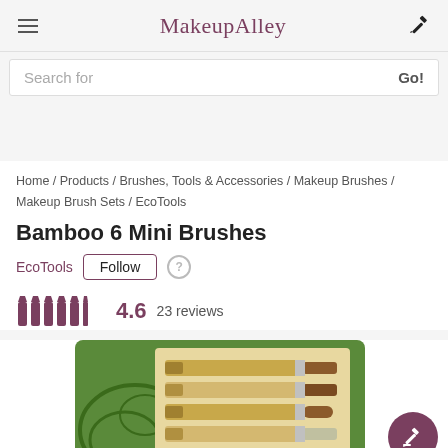MakeupAlley
Search for   Go!
Home / Products / Brushes, Tools & Accessories / Makeup Brushes / Makeup Brush Sets / EcoTools
Bamboo 6 Mini Brushes
EcoTools  Follow
4.6  23 reviews
[Figure (photo): Product photo of EcoTools Bamboo 6 Mini Brushes in green packaging showing multiple small bamboo-handled makeup brushes]